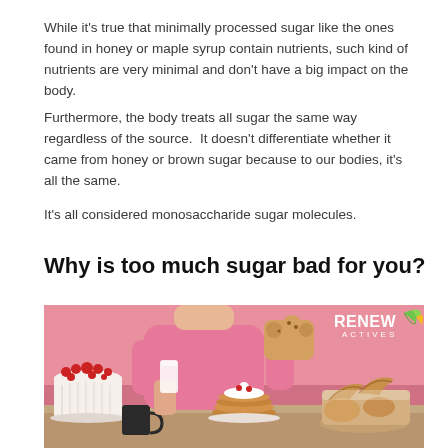While it's true that minimally processed sugar like the ones found in honey or maple syrup contain nutrients, such kind of nutrients are very minimal and don't have a big impact on the body.
Furthermore, the body treats all sugar the same way regardless of the source.  It doesn't differentiate whether it came from honey or brown sugar because to our bodies, it's all the same.
It's all considered monosaccharide sugar molecules.
Why is too much sugar bad for you?
[Figure (photo): A woman in a pink sweater holding a glass of milk and a pastry, surrounded by sugary foods including a strawberry cake, pancakes with cream, croissants, and other baked goods on a pink background. The Renew Actives logo is visible in the top right corner.]